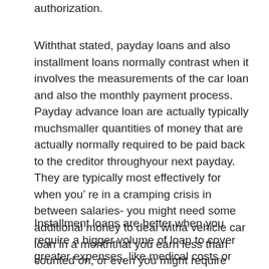authorization.
Withthat stated, payday loans and also installment loans normally contrast when it involves the measurements of the car loan and also the monthly payment process. Payday advance loan are actually typically muchsmaller quantities of money that are actually normally required to be paid back to the creditor throughyour next payday. They are typically most effectively for when you’ re in a cramping crisis in between salaries- you might need some additional money to deal witha vehicle car loan in a monththat you earn less than counted on, or even you might require help dealing withgroceries in a monththat power bills increased.
Installment loans are better when you require a bigger volume of loan to cover greater expenses, like medical costs or even primary house repair services. These loans are actually often a bigger amount of cashand also could be paid back over a longer time frame withplanned payments, giving